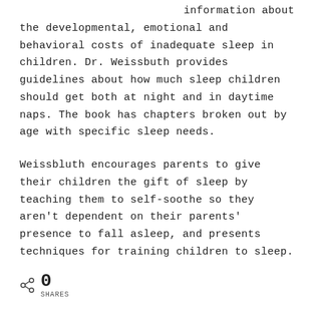information about the developmental, emotional and behavioral costs of inadequate sleep in children. Dr. Weissbuth provides guidelines about how much sleep children should get both at night and in daytime naps. The book has chapters broken out by age with specific sleep needs.
Weissbluth encourages parents to give their children the gift of sleep by teaching them to self-soothe so they aren't dependent on their parents' presence to fall asleep, and presents techniques for training children to sleep.
0 SHARES